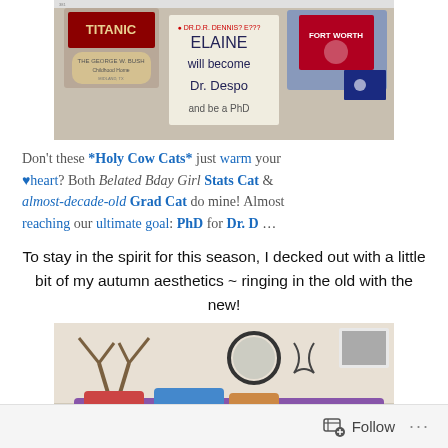[Figure (photo): Photo collage showing magnets and memorabilia on a surface, including a Titanic magnet, George W. Bush Childhood Home plaque, a note that reads 'ELAINE will become Dr. Despo', and an American flag with a star emblem.]
Don't these *Holy Cow Cats* just warm your ♥heart? Both Belated Bday Girl Stats Cat & almost-decade-old Grad Cat do mine! Almost reaching our ultimate goal: PhD for Dr. D …
To stay in the spirit for this season, I decked out with a little bit of my autumn aesthetics ~ ringing in the old with the new!
[Figure (photo): Photo of a bedroom or living space decorated with antler decorations, a round mirror, colorful pillows, and photos on the wall.]
Follow  ...